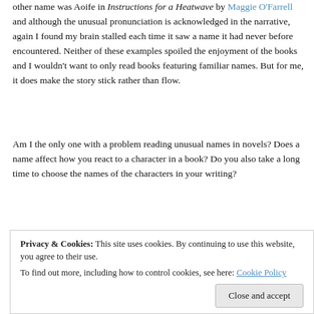other name was Aoife in Instructions for a Heatwave by Maggie O'Farrell and although the unusual pronunciation is acknowledged in the narrative, again I found my brain stalled each time it saw a name it had never before encountered. Neither of these examples spoiled the enjoyment of the books and I wouldn't want to only read books featuring familiar names. But for me, it does make the story stick rather than flow.
Am I the only one with a problem reading unusual names in novels? Does a name affect how you react to a character in a book? Do you also take a long time to choose the names of the characters in your writing?
[Figure (infographic): Word cloud of common names including Sarah (largest), Helen, Nicola, Andrew, Rebecca, Richard, David, Julie, Joanne, Louise, Victoria, Claire, Mrs, Paul, Susan, Simon, Samantha, Clare, James, Elizabeth, Rachel and many others in dark red/maroon tones]
Privacy & Cookies: This site uses cookies. By continuing to use this website, you agree to their use.
To find out more, including how to control cookies, see here: Cookie Policy